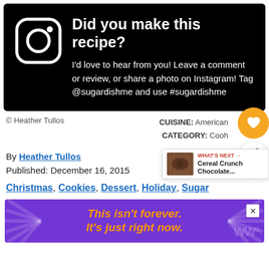[Figure (infographic): Black banner with Instagram icon and heading 'Did you make this recipe?' with body text about leaving a comment or tagging on Instagram]
© Heather Tullos
CUISINE: American
CATEGORY: Cooh...
By Heather Tullos
Published: December 16, 2015
Christmas, Cookies, Dessert, Holiday, Sugar
[Figure (infographic): Purple advertisement banner with text 'This isn't forever. It's just right now.' in orange italic text]
[Figure (infographic): WHAT'S NEXT widget showing Cereal Crunch Chocolate...]